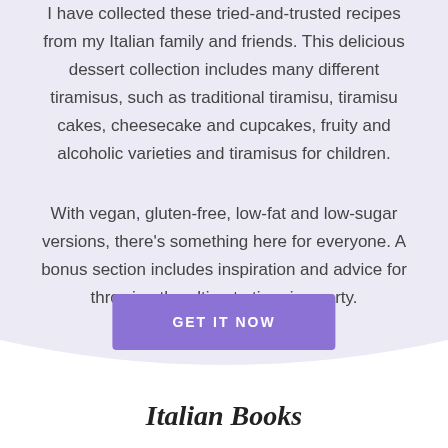I have collected these tried-and-trusted recipes from my Italian family and friends. This delicious dessert collection includes many different tiramisus, such as traditional tiramisu, tiramisu cakes, cheesecake and cupcakes, fruity and alcoholic varieties and tiramisus for children.
With vegan, gluten-free, low-fat and low-sugar versions, there's something here for everyone. A bonus section includes inspiration and advice for throwing the ultimate tiramisu party.
GET IT NOW
Italian Books